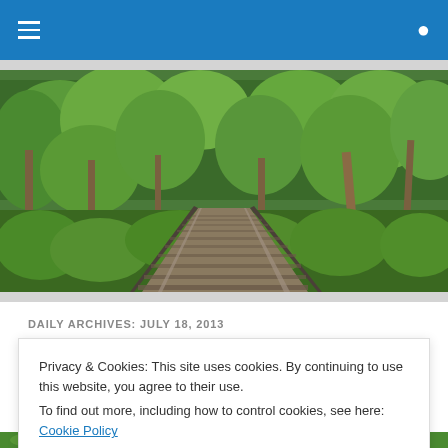Navigation bar with hamburger menu and search icon
[Figure (photo): Panoramic photo of double railway tracks receding into the distance through a lush green forest with trees on both sides]
DAILY ARCHIVES: JULY 18, 2013
Article title (partially obscured by cookie banner)
Privacy & Cookies: This site uses cookies. By continuing to use this website, you agree to their use.
To find out more, including how to control cookies, see here: Cookie Policy
Close and accept
[Figure (photo): Partial bottom strip showing green foliage/plants]